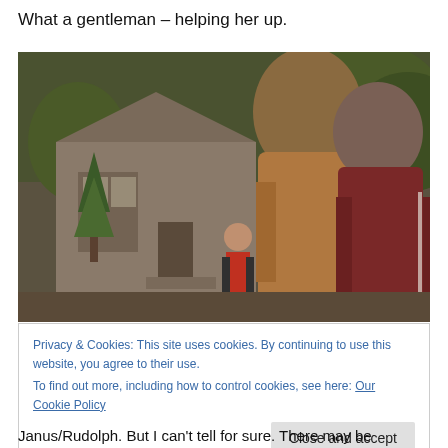What a gentleman – helping her up.
[Figure (photo): Outdoor scene with three people near a wooden cabin. One person in a red vest stands at a distance, two others in jackets face away from the camera.]
Privacy & Cookies: This site uses cookies. By continuing to use this website, you agree to their use.
To find out more, including how to control cookies, see here: Our Cookie Policy
Close and accept
Janus/Rudolph.  But I can't tell for sure.  There may be